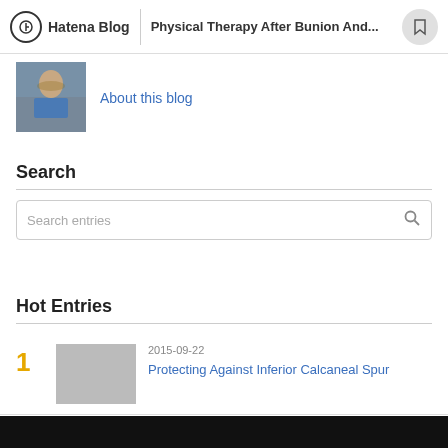Hatena Blog | Physical Therapy After Bunion And...
[Figure (photo): Blog profile photo of a person]
About this blog
Search
Search entries
Hot Entries
1  2015-09-22  Protecting Against Inferior Calcaneal Spur
2  2015-08-28  Treatment For Bursitis Of The Foot